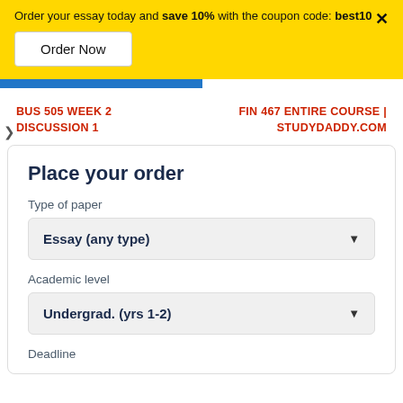Order your essay today and save 10% with the coupon code: best10
Order Now
BUS 505 WEEK 2 DISCUSSION 1
FIN 467 ENTIRE COURSE | STUDYDADDY.COM
Place your order
Type of paper
Essay (any type)
Academic level
Undergrad. (yrs 1-2)
Deadline